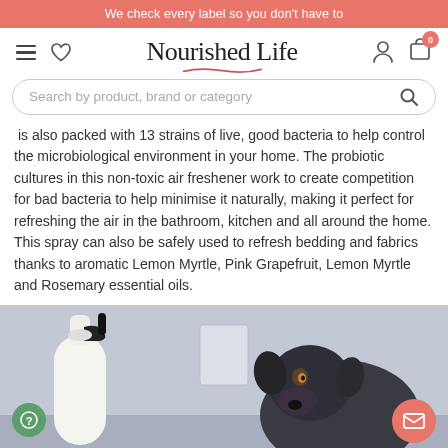We check every label so you don't have to
[Figure (screenshot): Nourished Life website navigation bar with hamburger menu, heart/wishlist icon, Nourished Life logo, user account icon, and shopping cart icon with badge showing 0]
[Figure (screenshot): Search bar with placeholder text: Search by product, brand or category]
is also packed with 13 strains of live, good bacteria to help control the microbiological environment in your home. The probiotic cultures in this non-toxic air freshener work to create competition for bad bacteria to help minimise it naturally, making it perfect for refreshing the air in the bathroom, kitchen and all around the home. This spray can also be safely used to refresh bedding and fabrics thanks to aromatic Lemon Myrtle, Pink Grapefruit, Lemon Myrtle and Rosemary essential oils.
[Figure (photo): Product photo showing a white spray bottle on the left and a black Labrador dog in the background, set against a grey/blue interior background]